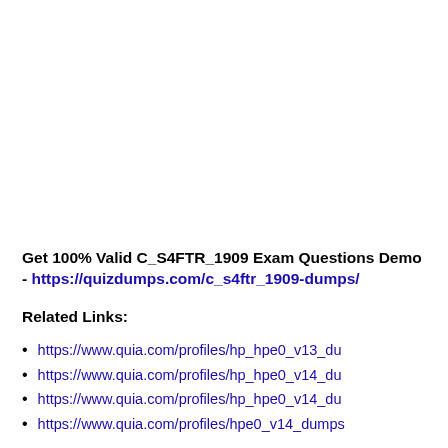Get 100% Valid C_S4FTR_1909 Exam Questions Demo - https://quizdumps.com/c_s4ftr_1909-dumps/
Related Links:
https://www.quia.com/profiles/hp_hpe0_v13_du...
https://www.quia.com/profiles/hp_hpe0_v14_du...
https://www.quia.com/profiles/hp_hpe0_v14_du...
https://www.quia.com/profiles/hpe0_v14_dumps...